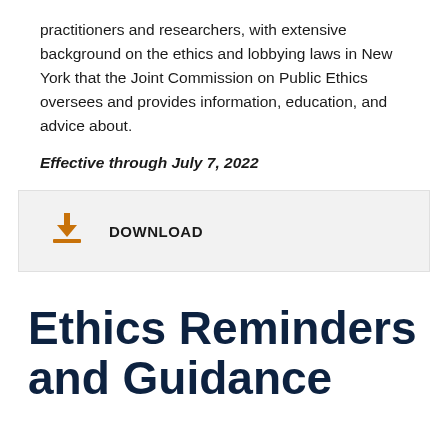practitioners and researchers, with extensive background on the ethics and lobbying laws in New York that the Joint Commission on Public Ethics oversees and provides information, education, and advice about.
Effective through July 7, 2022
DOWNLOAD
Ethics Reminders and Guidance